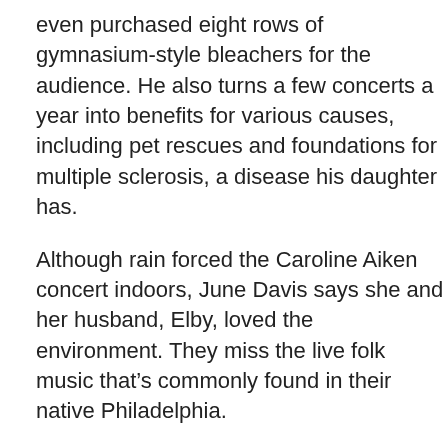even purchased eight rows of gymnasium-style bleachers for the audience. He also turns a few concerts a year into benefits for various causes, including pet rescues and foundations for multiple sclerosis, a disease his daughter has.
Although rain forced the Caroline Aiken concert indoors, June Davis says she and her husband, Elby, loved the environment. They miss the live folk music that’s commonly found in their native Philadelphia.
“It takes a very generous person to open their home like that,” she says. “It’s comfy, cozy and it comes with dogs.”
This article appears in the March 2019 issue of Orlando